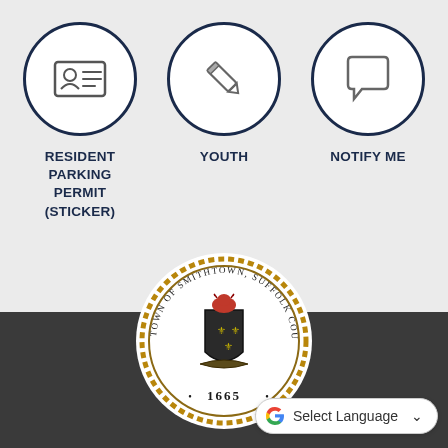[Figure (infographic): Three circular icon buttons in a row on a light gray background. Left: ID card icon labeled RESIDENT PARKING PERMIT (STICKER). Center: Pencil/edit icon labeled YOUTH. Right: Speech bubble icon labeled NOTIFY ME.]
RESIDENT PARKING PERMIT (STICKER)
YOUTH
NOTIFY ME
[Figure (logo): Town of Smithtown, Suffolk County, New York official seal, established 1665. Circular seal with rope border, coat of arms with bull and fleur-de-lis, and text around the perimeter.]
Select Language